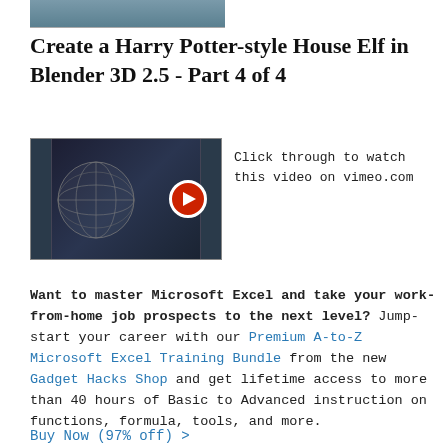[Figure (screenshot): Partial screenshot of a 3D modeling interface, cropped at top]
Create a Harry Potter-style House Elf in Blender 3D 2.5 - Part 4 of 4
[Figure (screenshot): Video thumbnail showing Blender 3D interface with a sphere/head model and a red play button overlay, with sidebar panels visible]
Click through to watch this video on vimeo.com
Want to master Microsoft Excel and take your work-from-home job prospects to the next level? Jump-start your career with our Premium A-to-Z Microsoft Excel Training Bundle from the new Gadget Hacks Shop and get lifetime access to more than 40 hours of Basic to Advanced instruction on functions, formula, tools, and more.
Buy Now (97% off) >